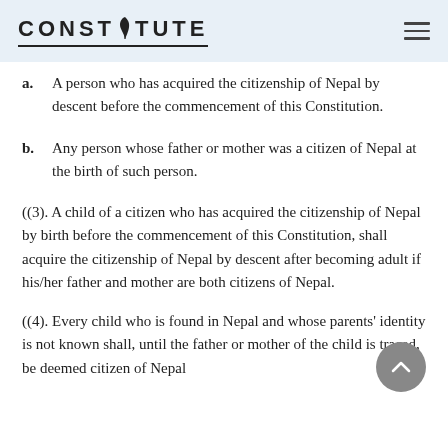CONSTITUTE
a. A person who has acquired the citizenship of Nepal by descent before the commencement of this Constitution.
b. Any person whose father or mother was a citizen of Nepal at the birth of such person.
((3). A child of a citizen who has acquired the citizenship of Nepal by birth before the commencement of this Constitution, shall acquire the citizenship of Nepal by descent after becoming adult if his/her father and mother are both citizens of Nepal.
((4). Every child who is found in Nepal and whose parents' identity is not known shall, until the father or mother of the child is traced, be deemed citizen of Nepal